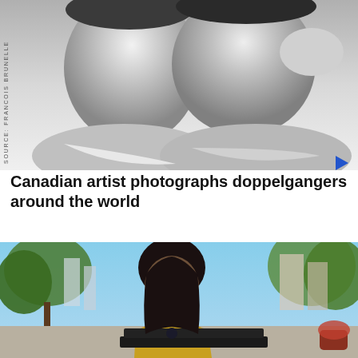[Figure (photo): Black and white portrait of two young men side by side, both looking at camera. A vertical photo credit 'SOURCE: FRANCOIS BRUNELLE' is printed along the left edge. A blue play button arrow is visible at bottom right.]
Canadian artist photographs doppelgangers around the world
[Figure (photo): Color photo of a young woman with dark hair looking down at a laptop, seated outdoors with trees and city buildings in the background. She is wearing a yellow top.]